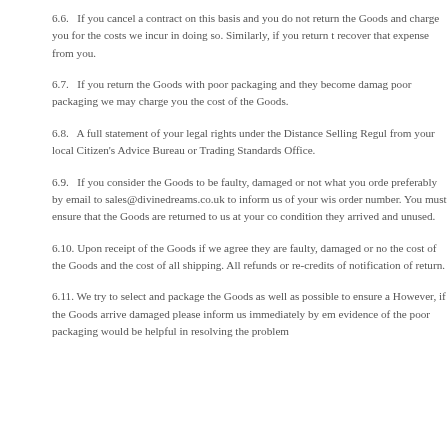6.6.   If you cancel a contract on this basis and you do not return the Goods and charge you for the costs we incur in doing so. Similarly, if you return t recover that expense from you.
6.7.   If you return the Goods with poor packaging and they become damag poor packaging we may charge you the cost of the Goods.
6.8.   A full statement of your legal rights under the Distance Selling Regul from your local Citizen's Advice Bureau or Trading Standards Office.
6.9.   If you consider the Goods to be faulty, damaged or not what you orde preferably by email to sales@divinedreams.co.uk to inform us of your wis order number. You must ensure that the Goods are returned to us at your co condition they arrived and unused.
6.10. Upon receipt of the Goods if we agree they are faulty, damaged or no the cost of the Goods and the cost of all shipping. All refunds or re-credits of notification of return.
6.11. We try to select and package the Goods as well as possible to ensure a However, if the Goods arrive damaged please inform us immediately by em evidence of the poor packaging would be helpful in resolving the problem